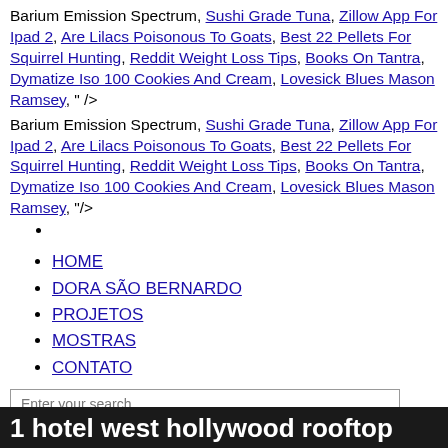Barium Emission Spectrum, Sushi Grade Tuna, Zillow App For Ipad 2, Are Lilacs Poisonous To Goats, Best 22 Pellets For Squirrel Hunting, Reddit Weight Loss Tips, Books On Tantra, Dymatize Iso 100 Cookies And Cream, Lovesick Blues Mason Ramsey, " />
Barium Emission Spectrum, Sushi Grade Tuna, Zillow App For Ipad 2, Are Lilacs Poisonous To Goats, Best 22 Pellets For Squirrel Hunting, Reddit Weight Loss Tips, Books On Tantra, Dymatize Iso 100 Cookies And Cream, Lovesick Blues Mason Ramsey, "/>
HOME
DORA SÃO BERNARDO
PROJETOS
MOSTRAS
CONTATO
Enter your search
1 hotel west hollywood rooftop